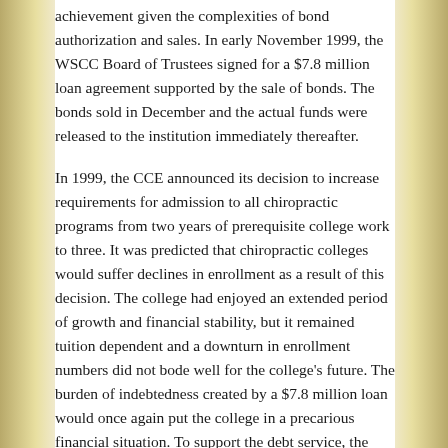achievement given the complexities of bond authorization and sales. In early November 1999, the WSCC Board of Trustees signed for a $7.8 million loan agreement supported by the sale of bonds. The bonds sold in December and the actual funds were released to the institution immediately thereafter.
In 1999, the CCE announced its decision to increase requirements for admission to all chiropractic programs from two years of prerequisite college work to three. It was predicted that chiropractic colleges would suffer declines in enrollment as a result of this decision. The college had enjoyed an extended period of growth and financial stability, but it remained tuition dependent and a downturn in enrollment numbers did not bode well for the college's future. The burden of indebtedness created by a $7.8 million loan would once again put the college in a precarious financial situation. To support the debt service, the